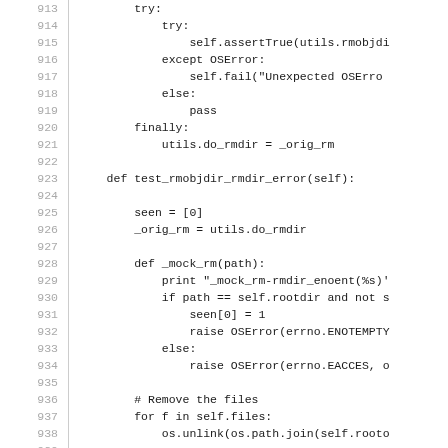Source code listing, lines 913-942, Python test code for rmobjdir_rmdir_error